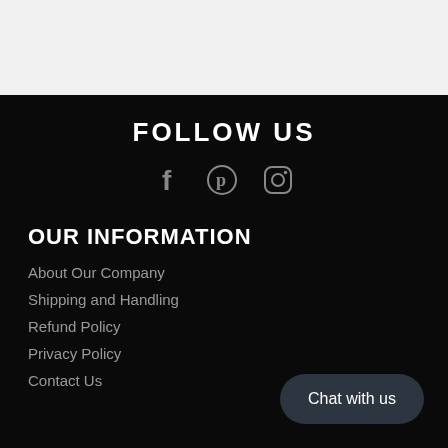FOLLOW US
[Figure (illustration): Social media icons: Facebook, Pinterest, Instagram in gray on black background]
OUR INFORMATION
About Our Company
Shipping and Handling
Refund Policy
Privacy Policy
Contact Us
Chat with us